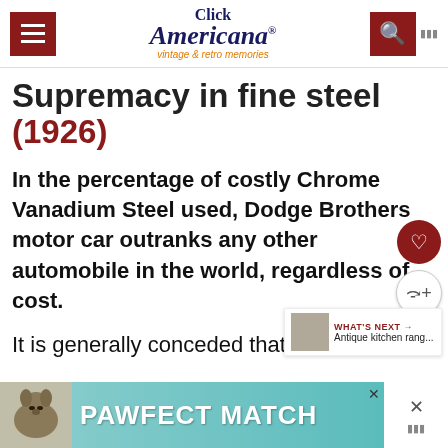Click Americana® vintage & retro memories
Supremacy in fine steel (1926)
In the percentage of costly Chrome Vanadium Steel used, Dodge Brothers motor car outranks any other automobile in the world, regardless of cost.
It is generally conceded that Chrome V...
[Figure (infographic): PAWFECT MATCH advertisement banner with dog image]